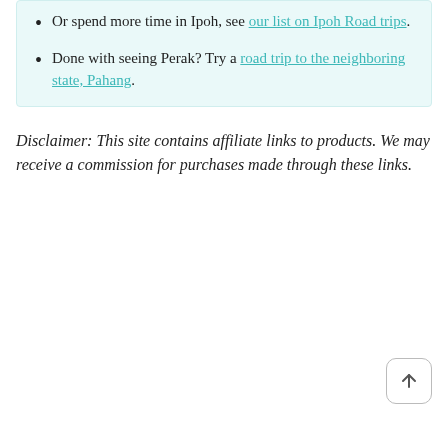Or spend more time in Ipoh, see our list on Ipoh Road trips.
Done with seeing Perak? Try a road trip to the neighboring state, Pahang.
Disclaimer: This site contains affiliate links to products. We may receive a commission for purchases made through these links.